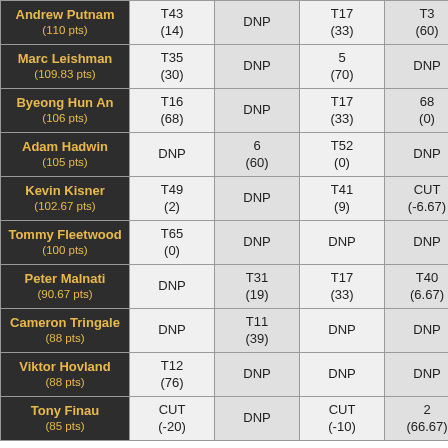| Player | Col1 | Col2 | Col3 | Col4 |
| --- | --- | --- | --- | --- |
| Andrew Putnam (110 pts) | T43 (14) | DNP | T17 (33) | T3 (60) |
| Marc Leishman (109.83 pts) | T35 (30) | DNP | 5 (70) | DNP |
| Byeong Hun An (106 pts) | T16 (68) | DNP | T17 (33) | 68 (0) |
| Adam Hadwin (105 pts) | DNP | 6 (60) | T52 (0) | DNP |
| Kevin Kisner (102.67 pts) | T49 (2) | DNP | T41 (9) | CUT (-6.67) |
| Tommy Fleetwood (100 pts) | T65 (0) | DNP | DNP | DNP |
| Peter Malnati (90.67 pts) | DNP | T31 (19) | T17 (33) | T40 (6.67) |
| Cameron Tringale (88 pts) | DNP | T11 (39) | DNP | DNP |
| Viktor Hovland (88 pts) | T12 (76) | DNP | DNP | DNP |
| Tony Finau (85 pts) | CUT (-20) | DNP | CUT (-10) | 2 (66.67) |